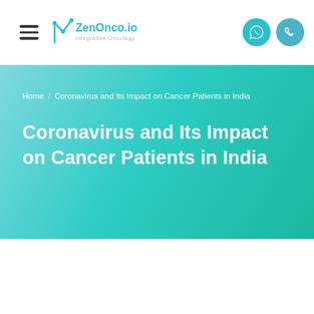ZenOnco.io – Integrative Oncology
Home / Coronavirus and Its Impact on Cancer Patients in India
Coronavirus and Its Impact on Cancer Patients in India